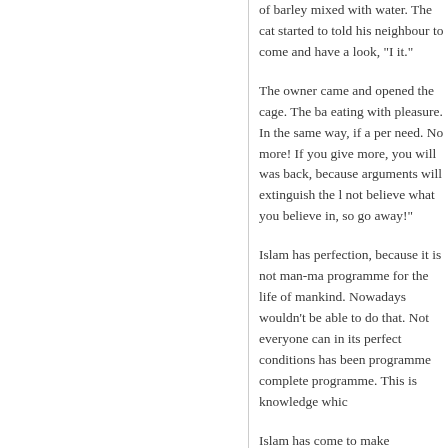of barley mixed with water. The cat started to told his neighbour to come and have a look, "I it."
The owner came and opened the cage. The ba eating with pleasure. In the same way, if a per need. No more! If you give more, you will was back, because arguments will extinguish the l not believe what you believe in, so go away!"
Islam has perfection, because it is not man-ma programme for the life of mankind. Nowadays wouldn't be able to do that. Not everyone can in its perfect conditions has been programme complete programme. This is knowledge whic
Islam has come to make connections between Men and women should be connected as husb students and teachers, teachers and students; never makes it possible for connections betwe